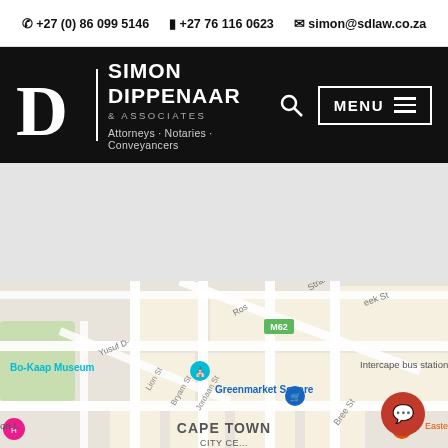☎ +27 (0) 86 099 5146   📱 +27 76 116 0623   ✉ simon@sdlaw.co.za
[Figure (logo): Simon Dippenaar & Associates law firm logo with large D letter, firm name, and tagline: Attorneys · Notaries · Conveyancers]
[Figure (map): Google Maps screenshot showing Cape Town City Centre area with landmarks: Bo-Kaap Museum, Greenmarket Square, Intercape bus station, Eastern Food Bazaar, along with street names: Strand St, Bree St, Bryam St, Jordaan St, Lion St, Yusuf D-, and road M62]